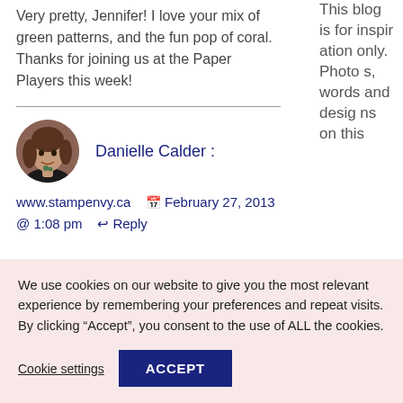Very pretty, Jennifer! I love your mix of green patterns, and the fun pop of coral. Thanks for joining us at the Paper Players this week!
This blog is for inspiration only. Photos, words and designs on this
Danielle Calder :
www.stampenvy.ca   February 27, 2013 @ 1:08 pm   Reply
We use cookies on our website to give you the most relevant experience by remembering your preferences and repeat visits. By clicking “Accept”, you consent to the use of ALL the cookies.
Cookie settings
ACCEPT